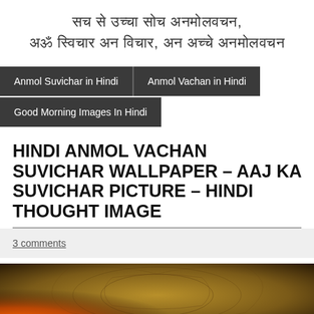[Hindi Devanagari text - website header in Hindi script]
Anmol Suvichar in Hindi
Anmol Vachan in Hindi
Good Morning Images In Hindi
HINDI ANMOL VACHAN SUVICHAR WALLPAPER - AAJ KA SUVICHAR PICTURE - HINDI THOUGHT IMAGE
3 comments
[Figure (photo): Decorative wallpaper image with warm amber/brown tones and ornamental floral patterns, with a glowing orange/red light in the lower left corner]